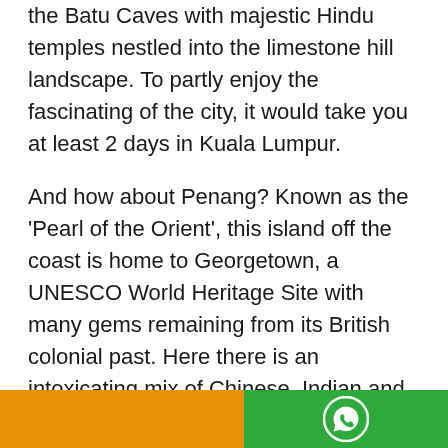the Batu Caves with majestic Hindu temples nestled into the limestone hill landscape. To partly enjoy the fascinating of the city, it would take you at least 2 days in Kuala Lumpur.
And how about Penang? Known as the 'Pearl of the Orient', this island off the coast is home to Georgetown, a UNESCO World Heritage Site with many gems remaining from its British colonial past. Here there is an intoxicating mix of Chinese, Indian and Malay culture, and that means scrumptious food from street-side tandoor ovens to bustling Chinese chicken eateries. Over on the mainland is the Cameron Highlands region where you can arrange a guided trek through the breathtaking trails; taking in the forests, valleys, peaks, and brilliant examples of wildlife.
[Figure (other): Footer bar split into orange (left) and green (right) sections, with a WhatsApp icon on the green side]